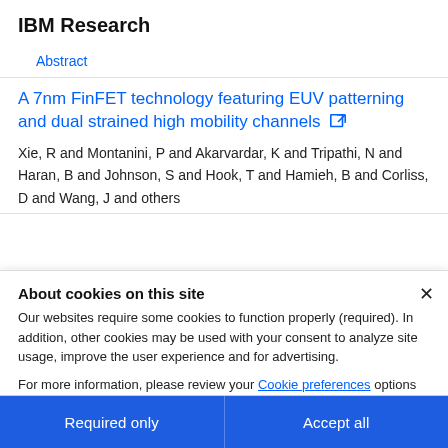IBM Research
Abstract
A 7nm FinFET technology featuring EUV patterning and dual strained high mobility channels
Xie, R and Montanini, P and Akarvardar, K and Tripathi, N and Haran, B and Johnson, S and Hook, T and Hamieh, B and Corliss, D and Wang, J and others
About cookies on this site
Our websites require some cookies to function properly (required). In addition, other cookies may be used with your consent to analyze site usage, improve the user experience and for advertising.
For more information, please review your Cookie preferences options and IBM's privacy statement.